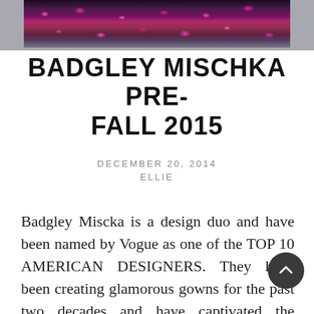[Figure (photo): Top portion of a fashion photo showing a dress or garment with pink and dark floral pattern against a gray background]
BADGLEY MISCHKA PRE-FALL 2015
DECEMBER 20, 2014
ELLIE
Badgley Miscka is a design duo and have been named by Vogue as one of the TOP 10 AMERICAN DESIGNERS. They have been creating glamorous gowns for the past two decades and have captivated the attention of the stylish people all around the world. They are sophisticated designers who create dresses to suit the needs of ...